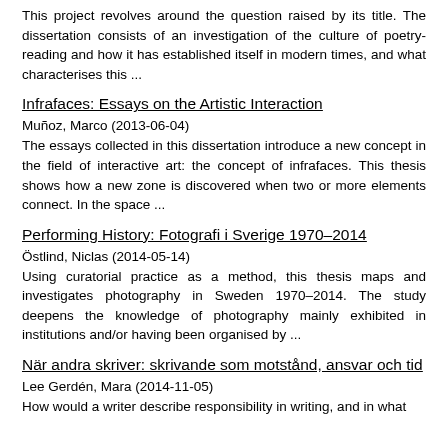This project revolves around the question raised by its title. The dissertation consists of an investigation of the culture of poetry-reading and how it has established itself in modern times, and what characterises this ...
Infrafaces: Essays on the Artistic Interaction
Muñoz, Marco (2013-06-04)
The essays collected in this dissertation introduce a new concept in the field of interactive art: the concept of infrafaces. This thesis shows how a new zone is discovered when two or more elements connect. In the space ...
Performing History: Fotografi i Sverige 1970–2014
Östlind, Niclas (2014-05-14)
Using curatorial practice as a method, this thesis maps and investigates photography in Sweden 1970–2014. The study deepens the knowledge of photography mainly exhibited in institutions and/or having been organised by ...
När andra skriver: skrivande som motstånd, ansvar och tid
Lee Gerdén, Mara (2014-11-05)
How would a writer describe responsibility in writing, and in what